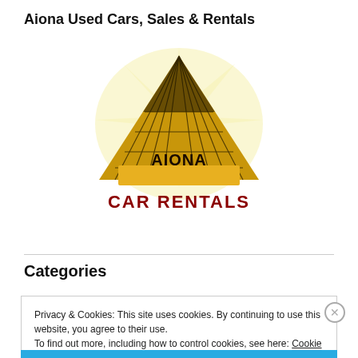Aiona Used Cars, Sales & Rentals
[Figure (logo): Aiona Car Rentals logo: gold pyramid with grid pattern and text 'AIONA' on the pyramid face, 'CAR RENTALS' in bold red text below, on a pale yellow starburst background]
Categories
Privacy & Cookies: This site uses cookies. By continuing to use this website, you agree to their use.
To find out more, including how to control cookies, see here: Cookie Policy
Close and accept